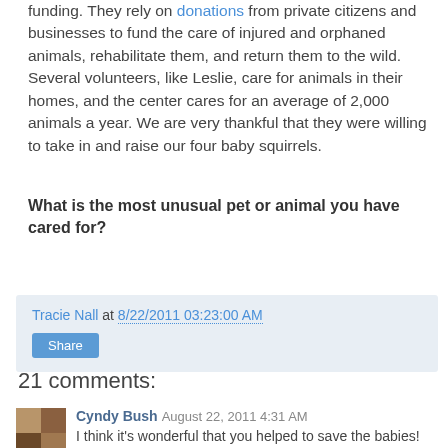funding. They rely on donations from private citizens and businesses to fund the care of injured and orphaned animals, rehabilitate them, and return them to the wild. Several volunteers, like Leslie, care for animals in their homes, and the center cares for an average of 2,000 animals a year. We are very thankful that they were willing to take in and raise our four baby squirrels.
What is the most unusual pet or animal you have cared for?
Tracie Nall at 8/22/2011 03:23:00 AM
Share
21 comments:
Cyndy Bush August 22, 2011 4:31 AM
I think it's wonderful that you helped to save the babies!